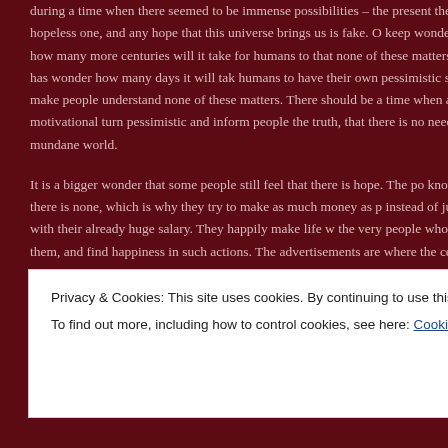during a time when there seemed to be immense possibilities – the present the most hopeless one, and any hope that this universe brings us is fake. O keep wondering about how many more centuries will it take for humans to that none of these matters. One also has wonder how many days it will tak humans to have their own pessimistic speakers to make people understand none of these matters. There should be a time when all these motivational turn pessimistic and inform people the truth, that there is no need for inspi mundane world.
It is a bigger wonder that some people still feel that there is hope. The po know that there is none, which is why they try to make as much money as p instead of just living with their already huge salary. They happily make life w the very people who elect them, and find happiness in such actions. The advertisements are where the celebrities tell lies about products after taki amount of money, thus cheating their fans, while the salesmen continuously
Privacy & Cookies: This site uses cookies. By continuing to use this website, you agree to their use.
To find out more, including how to control cookies, see here: Cookie Policy